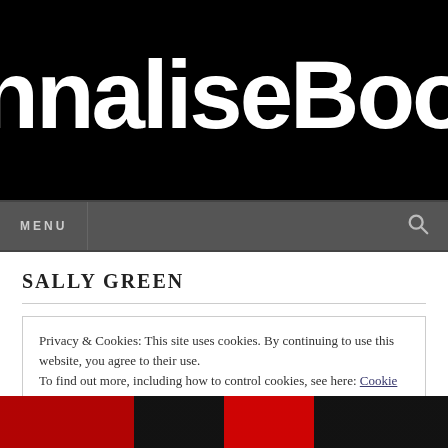[Figure (logo): Website banner with large handwritten white text on black background reading 'annaliseBoo' (partially cropped)]
MENU
SALLY GREEN
Privacy & Cookies: This site uses cookies. By continuing to use this website, you agree to their use.
To find out more, including how to control cookies, see here: Cookie Policy
Close and accept
[Figure (photo): Partial view of what appears to be board game pieces or book covers in red, black and white at the bottom of the page]